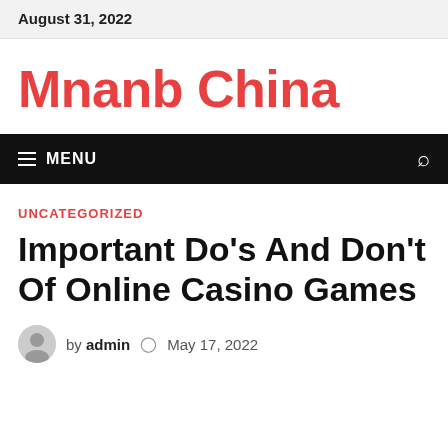August 31, 2022
Mnanb China
≡ MENU
UNCATEGORIZED
Important Do's And Don't Of Online Casino Games
by admin  May 17, 2022